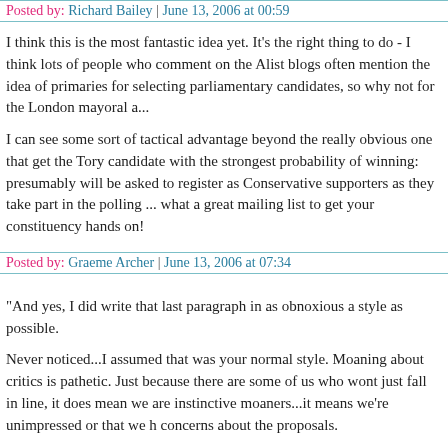Posted by: Richard Bailey | June 13, 2006 at 00:59
I think this is the most fantastic idea yet. It's the right thing to do - I think lots of people who comment on the Alist blogs often mention the idea of primaries for selecting parliamentary candidates, so why not for the London mayoral a...
I can see some sort of tactical advantage beyond the really obvious one that get the Tory candidate with the strongest probability of winning: presumably will be asked to register as Conservative supporters as they take part in the polling ... what a great mailing list to get your constituency hands on!
Posted by: Graeme Archer | June 13, 2006 at 07:34
"And yes, I did write that last paragraph in as obnoxious a style as possible.
Never noticed...I assumed that was your normal style. Moaning about critics is pathetic. Just because there are some of us who wont just fall in line, it does mean we are instinctive moaners...it means we're unimpressed or that we h concerns about the proposals.
Posted by: James Maskell | June 13, 2006 at 09:47
I like the idea of primaries but am quite sceptical as to why they should be...